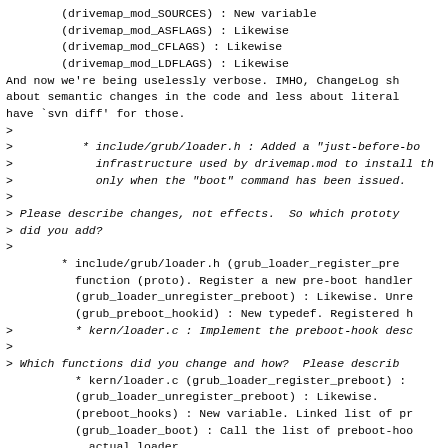(drivemap_mod_SOURCES) : New variable
        (drivemap_mod_ASFLAGS) : Likewise
        (drivemap_mod_CFLAGS) : Likewise
        (drivemap_mod_LDFLAGS) : Likewise
And now we're being uselessly verbose. IMHO, ChangeLog sh
about semantic changes in the code and less about literal
have `svn diff' for those.
>
>
>        * include/grub/loader.h : Added a "just-before-bo
>          infrastructure used by drivemap.mod to install th
>          only when the "boot" command has been issued.
>
> Please describe changes, not effects.  So which prototy
> did you add?
>
* include/grub/loader.h (grub_loader_register_pre
          function (proto). Register a new pre-boot handler
          (grub_loader_unregister_preboot) : Likewise. Unre
          (grub_preboot_hookid) : New typedef. Registered h
>         * kern/loader.c : Implement the preboot-hook desc
>
> Which functions did you change and how?  Please describ
          * kern/loader.c (grub_loader_register_preboot) :
          (grub_loader_unregister_preboot) : Likewise.
          (preboot_hooks) : New variable. Linked list of pr
          (grub_loader_boot) : Call the list of preboot-hoo
            actual loader
>
> The header is missing, please include it.  Also newline